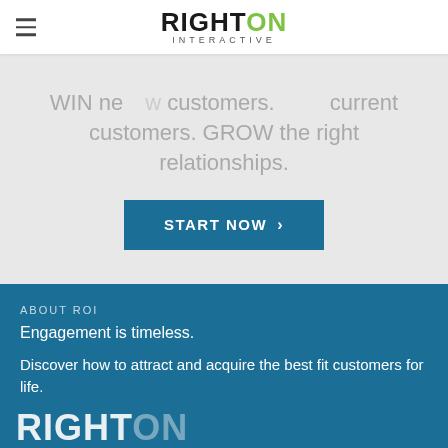RightOn Interactive logo and hamburger navigation
WIN new customers. GROW the right relationships.
START NOW >
ABOUT ROI
Engagement is timeless.
Discover how to attract and acquire the best fit customers for life.
[Figure (logo): RightOn Interactive partial logo at bottom]